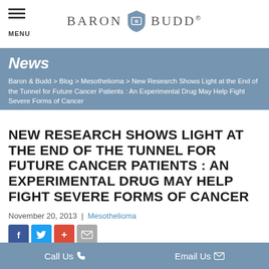MENU | Baron Budd
News
Baron & Budd > Blog > Mesothelioma > New Research Shows Light at the End of the Tunnel for Future Cancer Patients : An Experimental Drug May Help Fight Severe Forms of Cancer
NEW RESEARCH SHOWS LIGHT AT THE END OF THE TUNNEL FOR FUTURE CANCER PATIENTS : AN EXPERIMENTAL DRUG MAY HELP FIGHT SEVERE FORMS OF CANCER
November 20, 2013  |  Mesothelioma
[Figure (other): Social sharing buttons: Facebook, Twitter, Google+, Email]
[Figure (photo): Partial photo visible at bottom of article area]
Call Us   Email Us